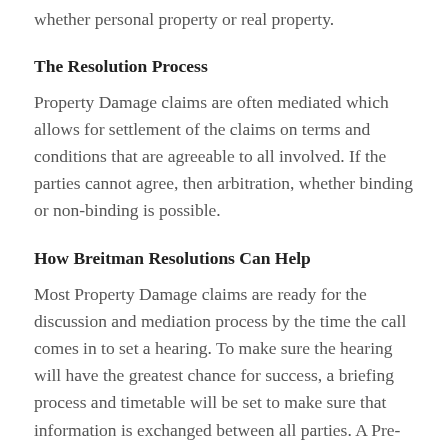whether personal property or real property.
The Resolution Process
Property Damage claims are often mediated which allows for settlement of the claims on terms and conditions that are agreeable to all involved. If the parties cannot agree, then arbitration, whether binding or non-binding is possible.
How Breitman Resolutions Can Help
Most Property Damage claims are ready for the discussion and mediation process by the time the call comes in to set a hearing. To make sure the hearing will have the greatest chance for success, a briefing process and timetable will be set to make sure that information is exchanged between all parties. A Pre-Hearing Telephone Conference may be set to get an update on status, to resolve any problems or anticipated issues before the hearing and to make sure the case is ready for mediation with the sharing of information that is needed to assist those involved in seeking resolution